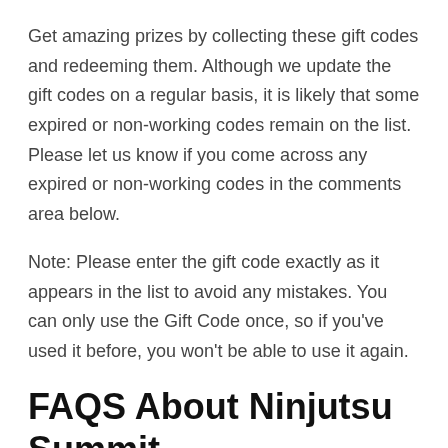Get amazing prizes by collecting these gift codes and redeeming them. Although we update the gift codes on a regular basis, it is likely that some expired or non-working codes remain on the list. Please let us know if you come across any expired or non-working codes in the comments area below.
Note: Please enter the gift code exactly as it appears in the list to avoid any mistakes. You can only use the Gift Code once, so if you've used it before, you won't be able to use it again.
FAQS About Ninjutsu Summit Redeem Codes
Where Can Ninjutsu Summit Gift Codes Be...